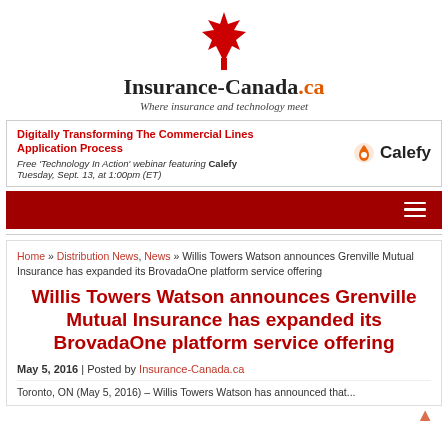[Figure (logo): Insurance-Canada.ca logo with red maple leaf and tagline 'Where insurance and technology meet']
[Figure (infographic): Advertisement banner: 'Digitally Transforming The Commercial Lines Application Process' - Free Technology In Action webinar featuring Calefy, Tuesday, Sept. 13, at 1:00pm (ET), with Calefy logo on the right]
[Figure (other): Dark red navigation bar with hamburger menu icon on the right]
Home » Distribution News, News » Willis Towers Watson announces Grenville Mutual Insurance has expanded its BrovadaOne platform service offering
Willis Towers Watson announces Grenville Mutual Insurance has expanded its BrovadaOne platform service offering
May 5, 2016 | Posted by Insurance-Canada.ca
Toronto, ON (May 5, 2016) – Willis Towers Watson has announced that...